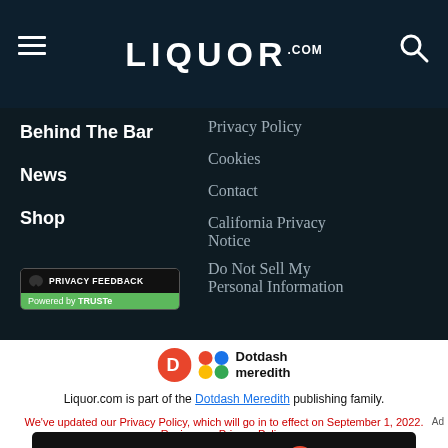LIQUOR.COM
Behind The Bar
News
Shop
Privacy Policy
Cookies
Contact
California Privacy Notice
Do Not Sell My Personal Information
[Figure (logo): Privacy Feedback badge - Powered by TRUSTe]
[Figure (logo): Dotdash Meredith logo]
Liquor.com is part of the Dotdash Meredith publishing family.
We've updated our Privacy Policy, which will go in to effect on September 1, 2023. Review our Privacy Policy
[Figure (screenshot): Dotdash Meredith ad banner: We help people find answers, solve problems and get inspired.]